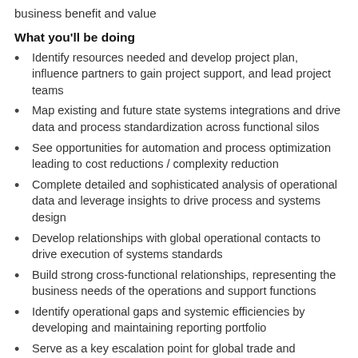business benefit and value
What you'll be doing
Identify resources needed and develop project plan, influence partners to gain project support, and lead project teams
Map existing and future state systems integrations and drive data and process standardization across functional silos
See opportunities for automation and process optimization leading to cost reductions / complexity reduction
Complete detailed and sophisticated analysis of operational data and leverage insights to drive process and systems design
Develop relationships with global operational contacts to drive execution of systems standards
Build strong cross-functional relationships, representing the business needs of the operations and support functions
Identify operational gaps and systemic efficiencies by developing and maintaining reporting portfolio
Serve as a key escalation point for global trade and transportation systems issues
Influence at multiple levels of the organization and function as a liaison with internal and external customers, suppliers and vendors